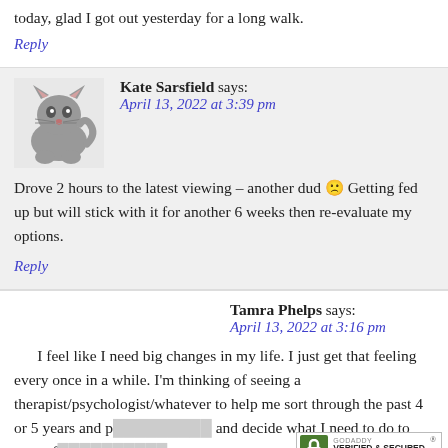today, glad I got out yesterday for a long walk.
Reply
Kate Sarsfield says:
April 13, 2022 at 3:39 pm

Drove 2 hours to the latest viewing – another dud 🙁 Getting fed up but will stick with it for another 6 weeks then re-evaluate my options.
Reply
Tamra Phelps says:
April 13, 2022 at 3:16 pm

I feel like I need big changes in my life. I just get that feeling every once in a while. I'm thinking of seeing a therapist/psychologist/whatever to help me sort through the past 4 or 5 years and p... and decide what I need to do to move fo...